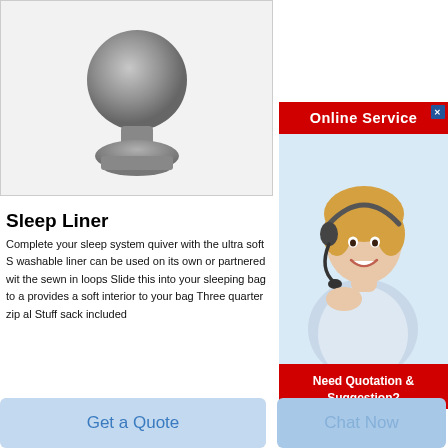[Figure (photo): Product photo of a decorative metal knob/finial on a light grey background]
[Figure (photo): Online Service advertisement widget with a female customer service agent wearing a headset, red header saying 'Online Service', close button, and red bottom section saying 'Need Quotation & Suggestion?' with a yellow 'Free Chat' button]
Sleep Liner
Complete your sleep system quiver with the ultra soft S washable liner can be used on its own or partnered wit the sewn in loops Slide this into your sleeping bag to a provides a soft interior to your bag Three quarter zip al Stuff sack included
[Figure (photo): Second product listing area showing Rongsheng logo (globe icon) and a grey fabric swatch photo]
Get a Quote
Chat Now